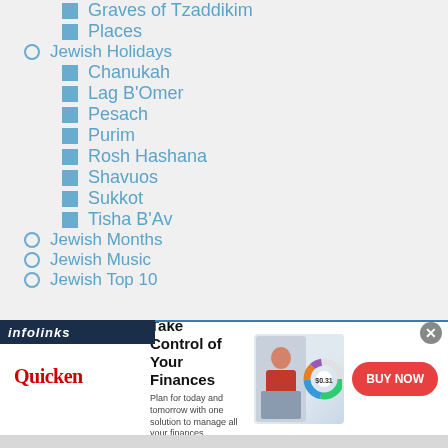Graves of Tzaddikim
Places
Jewish Holidays
Chanukah
Lag B'Omer
Pesach
Purim
Rosh Hashana
Shavuos
Sukkot
Tisha B'Av
Jewish Months
Jewish Music
Jewish Top 10
[Figure (infographic): Infolinks advertisement bar and Quicken financial software banner ad with 'Take Control of Your Finances' headline, woman at laptop image, donut chart graphic, and 'BUY NOW' button]